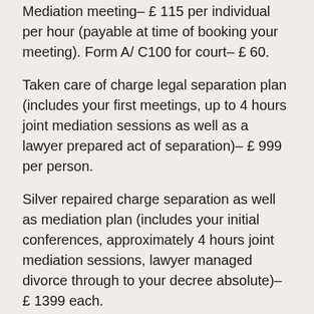Mediation meeting– £ 115 per individual per hour (payable at time of booking your meeting). Form A/ C100 for court– £ 60.
Taken care of charge legal separation plan (includes your first meetings, up to 4 hours joint mediation sessions as well as a lawyer prepared act of separation)– £ 999 per person.
Silver repaired charge separation as well as mediation plan (includes your initial conferences, approximately 4 hours joint mediation sessions, lawyer managed divorce through to your decree absolute)– £ 1399 each.
Gold dealt with cost separation as well as mediation package (includes your first conferences, as much as 6 hours of joint mediation sessions, lawyer handled divorce…